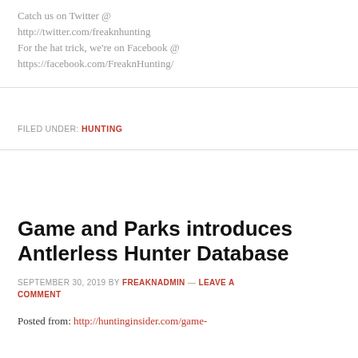Catch us on Twitter @ http://twitter.com/freaknhunting For the hat trick, we're on Facebook @ https://facebook.com/FreaknHunting/
FILED UNDER: HUNTING
Game and Parks introduces Antlerless Hunter Database
SEPTEMBER 30, 2019 BY FREAKNADMIN — LEAVE A COMMENT
Posted from: http://huntinginsider.com/game-